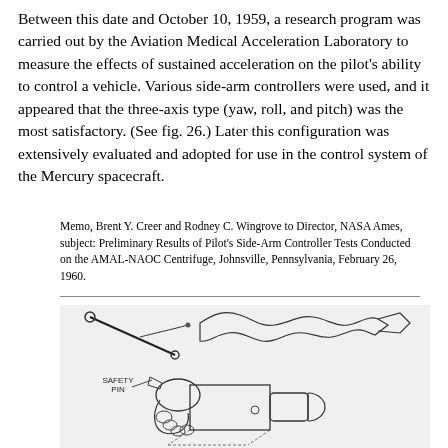Between this date and October 10, 1959, a research program was carried out by the Aviation Medical Acceleration Laboratory to measure the effects of sustained acceleration on the pilot's ability to control a vehicle. Various side-arm controllers were used, and it appeared that the three-axis type (yaw, roll, and pitch) was the most satisfactory. (See fig. 26.) Later this configuration was extensively evaluated and adopted for use in the control system of the Mercury spacecraft.
Memo, Brent Y. Creer and Rodney C. Wingrove to Director, NASA Ames, subject: Preliminary Results of Pilot's Side-Arm Controller Tests Conducted on the AMAL-NAOC Centrifuge, Johnsville, Pennsylvania, February 26, 1960.
[Figure (illustration): Technical illustration of a side-arm controller device showing a hand grip with a safety pin labeled, mechanical linkages, and what appears to be a control mechanism with wavy/ribbon elements at the top.]